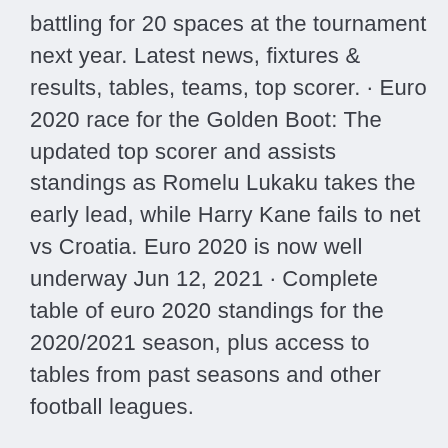battling for 20 spaces at the tournament next year. Latest news, fixtures & results, tables, teams, top scorer. · Euro 2020 race for the Golden Boot: The updated top scorer and assists standings as Romelu Lukaku takes the early lead, while Harry Kane fails to net vs Croatia. Euro 2020 is now well underway Jun 12, 2021 · Complete table of euro 2020 standings for the 2020/2021 season, plus access to tables from past seasons and other football leagues.